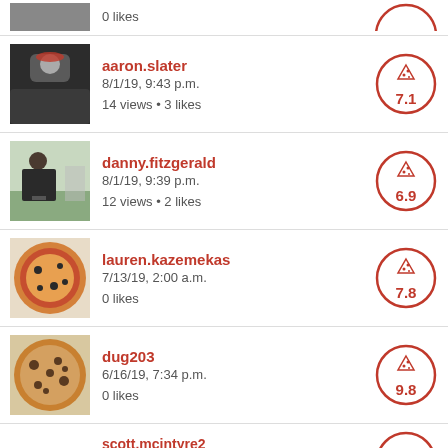0 likes
aaron.slater
8/1/19, 9:43 p.m.
14 views • 3 likes
7.1
danny.fitzgerald
8/1/19, 9:39 p.m.
12 views • 2 likes
6.9
lauren.kazemekas
7/13/19, 2:00 a.m.
0 likes
7.8
dug203
6/16/19, 7:34 p.m.
0 likes
9.8
scott.mcintyre2